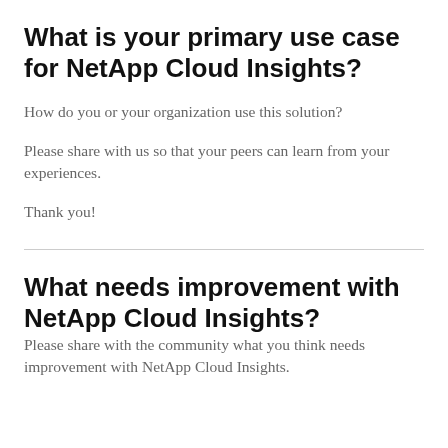What is your primary use case for NetApp Cloud Insights?
How do you or your organization use this solution?
Please share with us so that your peers can learn from your experiences.
Thank you!
What needs improvement with NetApp Cloud Insights?
Please share with the community what you think needs improvement with NetApp Cloud Insights.